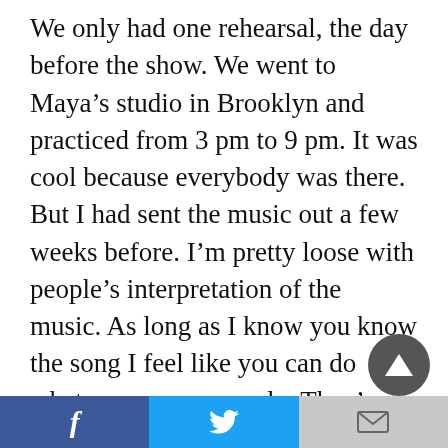We only had one rehearsal, the day before the show. We went to Maya's studio in Brooklyn and practiced from 3 pm to 9 pm. It was cool because everybody was there. But I had sent the music out a few weeks before. I'm pretty loose with people's interpretation of the music. As long as I know you know the song I feel like you can do whatever you wanna do. They're all really chill, with my homies it's always some weird ego battle. Everybody wanna talk shit. There was no talking shit at that rehearsal, it was so peaceful. Like, typically, it'd be six dudes yelling at each other about basketball, whose chick is finer than whose, and who killed harder at the last show. With [The Murder Angels]
f  [Twitter bird]  [email icon]